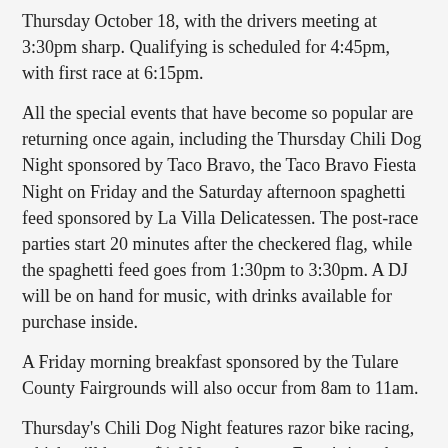Thursday October 18, with the drivers meeting at 3:30pm sharp. Qualifying is scheduled for 4:45pm, with first race at 6:15pm.
All the special events that have become so popular are returning once again, including the Thursday Chili Dog Night sponsored by Taco Bravo, the Taco Bravo Fiesta Night on Friday and the Saturday afternoon spaghetti feed sponsored by La Villa Delicatessen. The post-race parties start 20 minutes after the checkered flag, while the spaghetti feed goes from 1:30pm to 3:30pm. A DJ will be on hand for music, with drinks available for purchase inside.
A Friday morning breakfast sponsored by the Tulare County Fairgrounds will also occur from 8am to 11am.
Thursday's Chili Dog Night features razor bike racing, which will have a $1,000 total purse. Entry's into the bike races are $10 and limited to 120 participants. Bikes have been sponsored by former champions Brent, Bud and Tim Kaeding, Willie Croft, Shane Golobic and Jason Meyers. The bikes will then be autographed by each and auctioned off after the race to benefit Make-A-Wish…